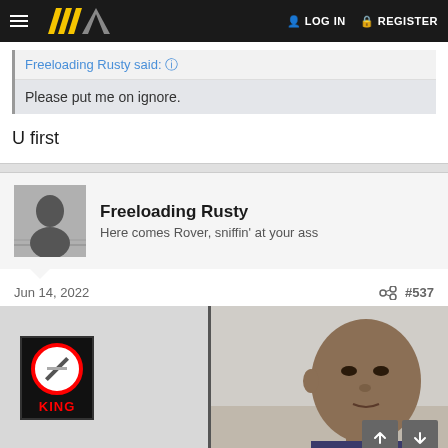LOG IN  REGISTER
Freeloading Rusty said: ↑
Please put me on ignore.
U first
Freeloading Rusty
Here comes Rover, sniffin' at your ass
Jun 14, 2022  #537
[Figure (photo): Screenshot of a forum post with a meme image showing a no smoking sign on the left and a man with a deadpan expression on the right]